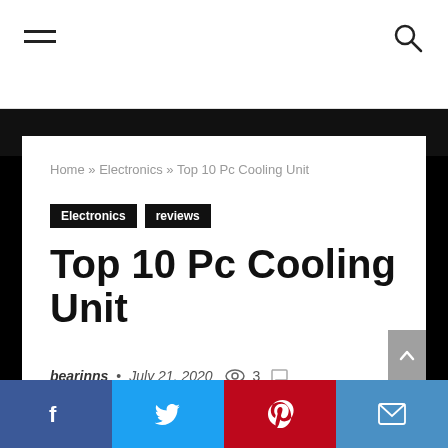Navigation bar with hamburger menu and search icon
Home » Electronics » Top 10 Pc Cooling Unit
Electronics   reviews
Top 10 Pc Cooling Unit
bearinns • July 21, 2020  👁 3  💬
0°  −  +  [progress bar]
Facebook  Twitter  Pinterest  Email